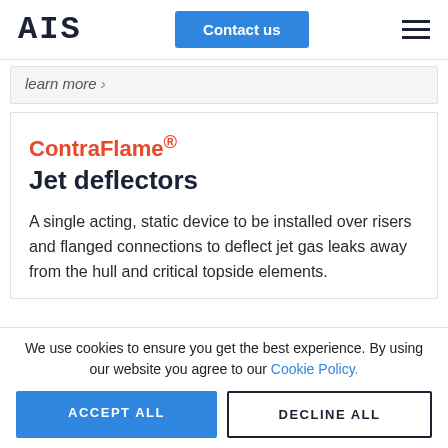AIS | Contact us
Learn more ›
ContraFlame® Jet deflectors
A single acting, static device to be installed over risers and flanged connections to deflect jet gas leaks away from the hull and critical topside elements.
We use cookies to ensure you get the best experience. By using our website you agree to our Cookie Policy.
ACCEPT ALL
DECLINE ALL